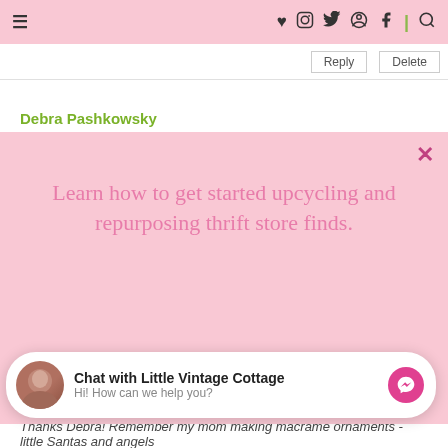≡  ♥ Instagram Twitter Pinterest Facebook | 🔍
| Reply | Delete |
| --- | --- |
Debra Pashkowsky
[Figure (infographic): Pink modal popup with text 'Learn how to get started upcycling and repurposing thrift store finds.' and a pink 'GET THE FREE GUIDE' button, with close (x) button in top right corner.]
[Figure (infographic): Facebook Messenger chat widget with avatar, 'Chat with Little Vintage Cottage' title, 'Hi! How can we help you?' subtitle, and pink Messenger icon button.]
Thanks Debra! Remember my mom making macrame ornaments - little Santas and angels